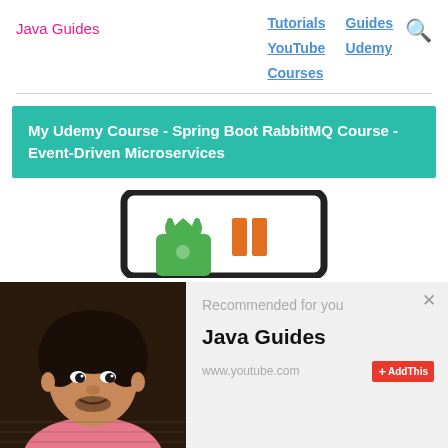Java Guides
Tutorials  Guides  YouTube  Udemy  Courses
My Udemy Course - Spring Boot RabbitMQ Course - Event-Driven Microservices
[Figure (screenshot): Screenshot of a course thumbnail showing a tablet device with RabbitMQ and Spring Boot logos, including a video play/pause icon overlay]
[Figure (photo): Photo of a young man with dark hair, presumably the course instructor, overlaid with a 'Recommended for you' popup showing Java Guides channel with www.youtube.com and AddThis button]